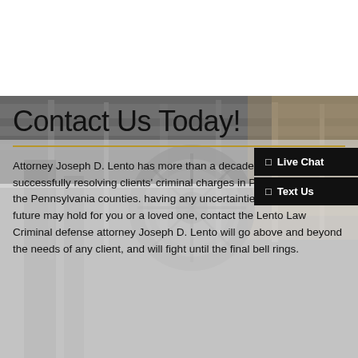[Figure (photo): Background photo of courtroom interior with architectural details including columns and balcony, overlaid on the lower portion of the page]
Contact Us Today!
Attorney Joseph D. Lento has more than a decade of experience successfully resolving clients' criminal charges in Philadelphia and the Pennsylvania counties. having any uncertainties about what the future may hold for you or a loved one, contact the Lento Law Criminal defense attorney Joseph D. Lento will go above and beyond the needs of any client, and will fight until the final bell rings.